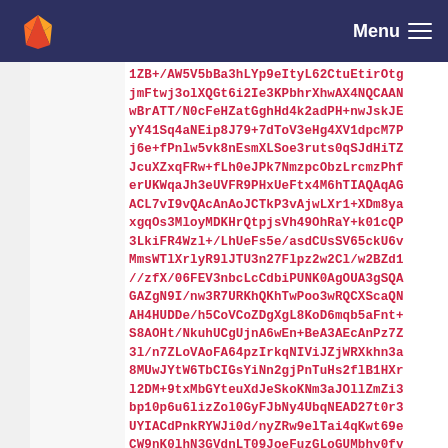GitLab Menu
1ZB+/AW5V5bBa3hLYp9eItyL62CtuEtirOtg
jmFtwj3olXQGt6i2Ie3KPbhrXhwAX4NQCAAN
wBrATT/N0cFeHZatGghHd4k2adPH+nwJskJE
yY41Sq4aNEip8J79+7dToV3eHg4XV1dpcM7P
j6e+fPnlw5vk8nEsmXLSoe3ruts0qSJdHiTZ
JcuXZxqFRw+fLh0eJPk7NmzpcObzLrcmzPhf
erUKWqaJh3eUVFR9PHxUeFtx4M6hTIAQAqAG
ACL7vI9vQAcAnAoJCTkP3vAjwLXr1+XDm8ya
xgqOs3MloyMDKHrQtpjsVh49OhRaY+k01cQP
3LkiFR4Wzl+/LhUeFs5e/asdCUsSV65ckU6v
MmsWTlXrlyR9lJTU3n27Flpz2w2Cl/w2BZd1
//zfX/06FEV3nbcLcCdbiPUNK0AgOUA3gSQA
GAZgN9I/nw3R7URKhQKhTwPoo3wRQCXScaQN
AH4HUDDe/h5CoVCoZDgXgL8KoD6mqb5aFnt+
S8AOHt/NkuhUCgUjnA6wEn+BeA3AEcAnPz7Z
3l/n7ZLoVAoFA64pzIrkqNIViJZjWRXkhn3a
8MUwJYtW6TbCIGsYiNn2gjPnTuHs2flB1HXr
l2DM+9txMbGYteuXdJeSkoKNm3aJOllZmZi3
bp10p6u6lizZol0GyFJbNy4UbqNEAD27t0r3
UYIACdPnkRYWJi0d/nyZRw9elTai4qKwt69e